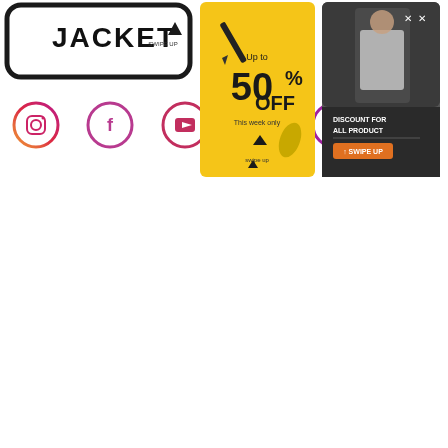[Figure (screenshot): Marketing/social media template screenshot showing: left panel - a rounded rectangle badge with 'JACKET' text in bold black and 'SWIPE UP' label with an upward arrow, below it five social media icons in pink/purple gradient circles (Instagram, Facebook, YouTube, Snapchat, WhatsApp); center panel - a yellow promotional story card with '50% OFF' in large text, 'Up to' above, decorative elements (pencil, leaf), and a 'swipe up' arrow at bottom; right panel - a dark/grey fashion story card with a model photo, 'DISCOUNT FOR ALL PRODUCT' text, and an orange 'SWIPE UP' button with X close icons.]